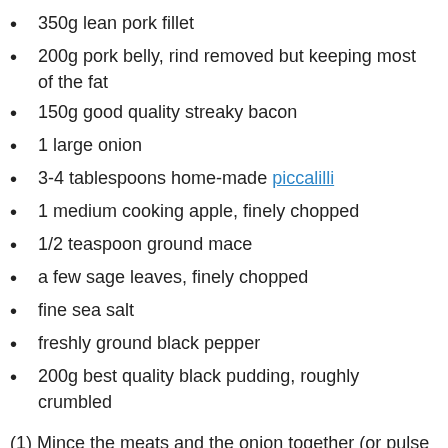350g lean pork fillet
200g pork belly, rind removed but keeping most of the fat
150g good quality streaky bacon
1 large onion
3-4 tablespoons home-made piccalilli
1 medium cooking apple, finely chopped
1/2 teaspoon ground mace
a few sage leaves, finely chopped
fine sea salt
freshly ground black pepper
200g best quality black pudding, roughly crumbled
(1) Mince the meats and the onion together (or pulse in a food processor to a coarse paste)  and place in a bowl. Add the rest of the filling